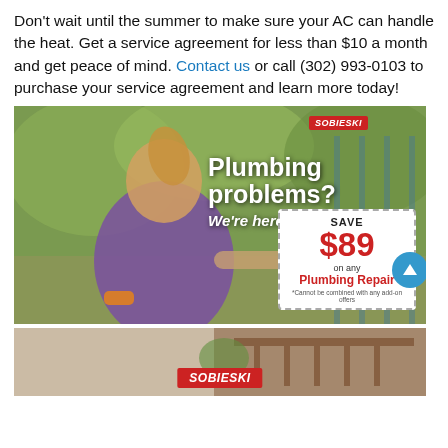Don't wait until the summer to make sure your AC can handle the heat. Get a service agreement for less than $10 a month and get peace of mind. Contact us or call (302) 993-0103 to purchase your service agreement and learn more today!
[Figure (photo): Advertisement image showing a young girl in a purple shirt holding a garden hose at an outdoor faucet. Text overlay reads 'Plumbing problems? We're here to help!' with a coupon for SAVE $89 on any Plumbing Repair. Sobieski logo in top right.]
[Figure (photo): Partial bottom advertisement strip showing a home exterior background with Sobieski logo at the bottom center.]